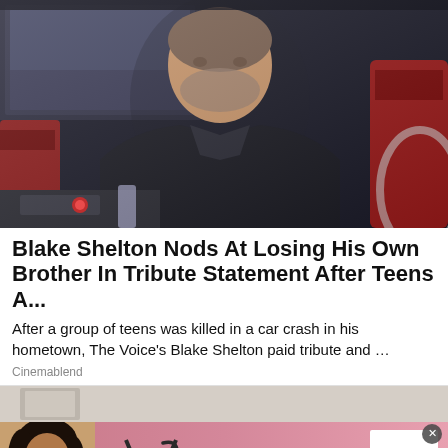[Figure (photo): Blake Shelton seated in a chair on The Voice set, wearing a dark blazer over a dark patterned shirt, with red chairs and studio lighting in the background]
Blake Shelton Nods At Losing His Own Brother In Tribute Statement After Teens A...
After a group of teens was killed in a car crash in his hometown, The Voice's Blake Shelton paid tribute and …
Cinemablend
[Figure (photo): Victoria's Secret advertisement banner with a female model, the VS logo, text reading SHOP THE COLLECTION, and a SHOP NOW button]